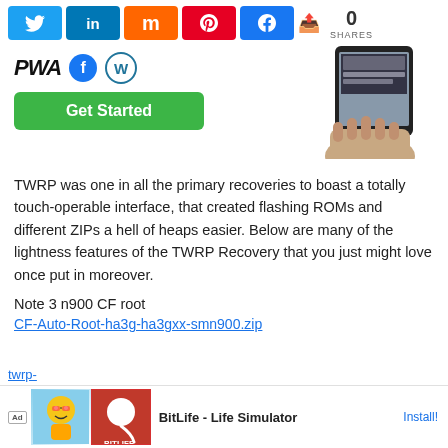[Figure (screenshot): Social share buttons: Twitter (blue), LinkedIn (blue), Mix (orange), Pinterest (red), Facebook (blue), and share count showing 0 SHARES]
[Figure (screenshot): PWA logo text with Facebook and WordPress icons and a Get Started green button, alongside a phone hand image]
TWRP was one in all the primary recoveries to boast a totally touch-operable interface, that created flashing ROMs and different ZIPs a hell of heaps easier. Below are many of the lightness features of the TWRP Recovery that you just might love once put in moreover.
Note 3 n900 CF root
CF-Auto-Root-ha3g-ha3gxx-smn900.zip
[Figure (screenshot): Ad banner: BitLife - Life Simulator advertisement with cartoon character and BitLife logo, Install! link]